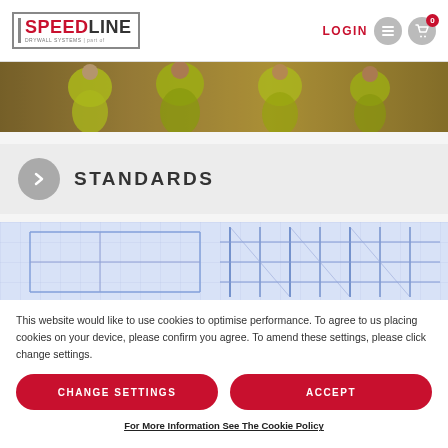[Figure (logo): Speedline Drywall Systems logo with bracket border, red SPEED and dark LINE text]
[Figure (screenshot): Navigation bar with LOGIN text in red, hamburger menu icon button, cart icon button with badge showing 0]
[Figure (photo): Photo banner of workers in yellow hi-vis jackets, construction site interior]
STANDARDS
[Figure (photo): Blueprint/architectural drawing in blue tones showing building structural plans]
This website would like to use cookies to optimise performance. To agree to us placing cookies on your device, please confirm you agree. To amend these settings, please click change settings.
CHANGE SETTINGS
ACCEPT
For More Information See The Cookie Policy